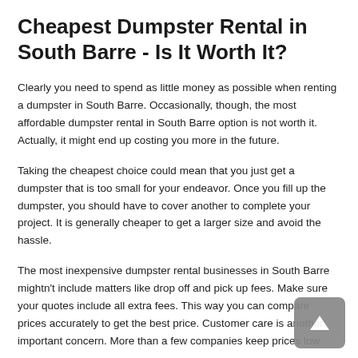Cheapest Dumpster Rental in South Barre - Is It Worth It?
Clearly you need to spend as little money as possible when renting a dumpster in South Barre. Occasionally, though, the most affordable dumpster rental in South Barre option is not worth it. Actually, it might end up costing you more in the future.
Taking the cheapest choice could mean that you just get a dumpster that is too small for your endeavor. Once you fill up the dumpster, you should have to cover another to complete your project. It is generally cheaper to get a larger size and avoid the hassle.
The most inexpensive dumpster rental businesses in South Barre mightn't include matters like drop off and pick up fees. Make sure your quotes include all extra fees. This way you can compare prices accurately to get the best price. Customer care is another important concern. More than a few companies keep prices low by cutting corners on service. The best thing you can could be...